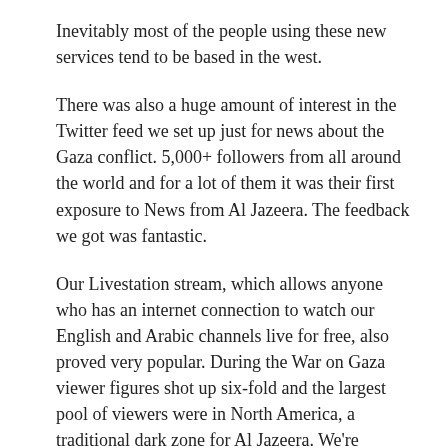Inevitably most of the people using these new services tend to be based in the west.
There was also a huge amount of interest in the Twitter feed we set up just for news about the Gaza conflict. 5,000+ followers from all around the world and for a lot of them it was their first exposure to News from Al Jazeera. The feedback we got was fantastic.
Our Livestation stream, which allows anyone who has an internet connection to watch our English and Arabic channels live for free, also proved very popular. During the War on Gaza viewer figures shot up six-fold and the largest pool of viewers were in North America, a traditional dark zone for Al Jazeera. We're working on that. Since the War on Gaza we've started to make a push to get Al Jazeera English broadcast in Canada and the USA: the IWantAJE.com site gives more information.